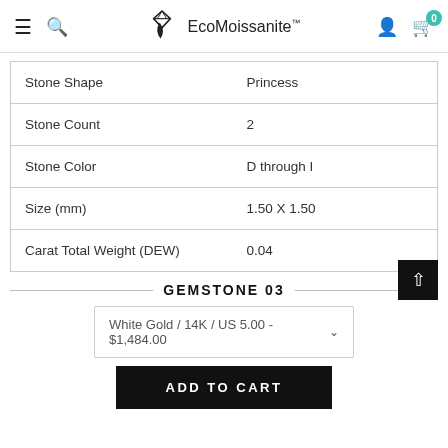EcoMoissanite™ navigation bar with menu, search, logo, account, and cart icons
| Property | Value |
| --- | --- |
| Stone Shape | Princess |
| Stone Count | 2 |
| Stone Color | D through I |
| Size (mm) | 1.50 X 1.50 |
| Carat Total Weight (DEW) | 0.04 |
GEMSTONE 03
White Gold / 14K / US 5.00 - $1,484.00
ADD TO CART